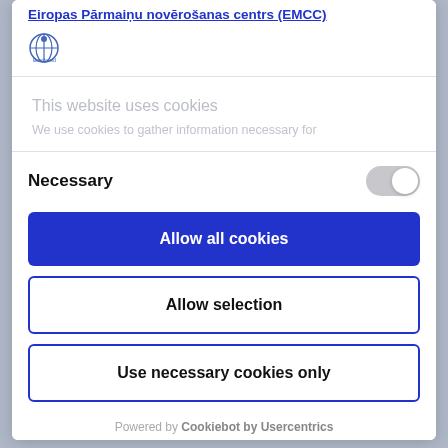Eiropas Pārmaiņu novērošanas centrs (EMCC)
[Figure (logo): Eurofound logo with small circular icon]
This website uses cookies
We use cookies to gather information necessary for
Necessary
Allow all cookies
Allow selection
Use necessary cookies only
Powered by Cookiebot by Usercentrics